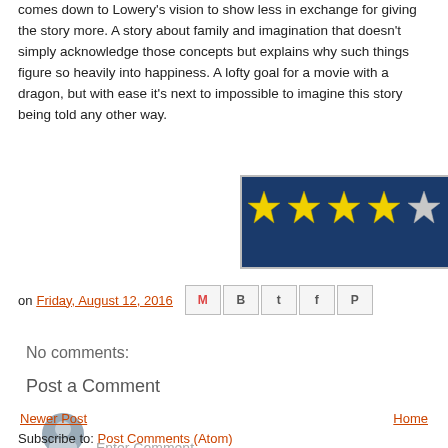comes down to Lowery's vision to show less in exchange for giving the story more. A story about family and imagination that doesn't simply acknowledge those concepts but explains why such things figure so heavily into happiness. A lofty goal for a movie with a dragon, but with ease it's next to impossible to imagine this story being told any other way.
[Figure (other): Star rating graphic showing 4 out of 5 stars on a dark blue background — four yellow stars and one gray/white star]
on Friday, August 12, 2016  [share icons: email, blogger, twitter, facebook, pinterest]
No comments:
Post a Comment
Enter Comment
Newer Post   Home   Subscribe to: Post Comments (Atom)